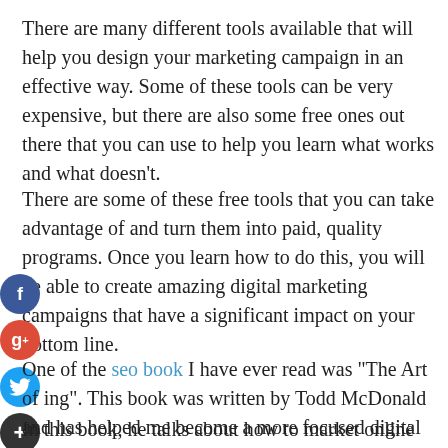There are many different tools available that will help you design your marketing campaign in an effective way. Some of these tools can be very expensive, but there are also some free ones out there that you can use to help you learn what works and what doesn't.
There are some of these free tools that you can take advantage of and turn them into paid, quality programs. Once you learn how to do this, you will be able to create amazing digital marketing campaigns that have a significant impact on your bottom line.
One of the seo book I have ever read was "The Art of ing". This book was written by Todd McDonald and has helped me become a more focused digital marketer who has become highly successful.
In this book, he talks about how to market online and how to keep up with the latest trends in digital